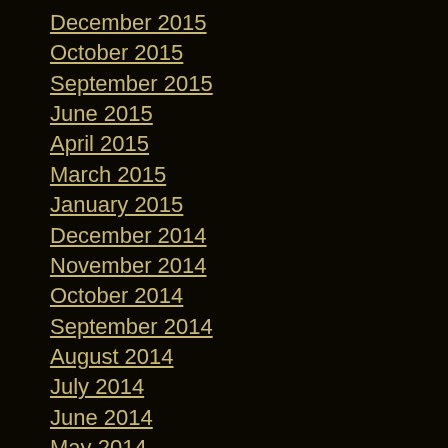December 2015
October 2015
September 2015
June 2015
April 2015
March 2015
January 2015
December 2014
November 2014
October 2014
September 2014
August 2014
July 2014
June 2014
May 2014
April 2014
March 2014
February 2014
January 2014